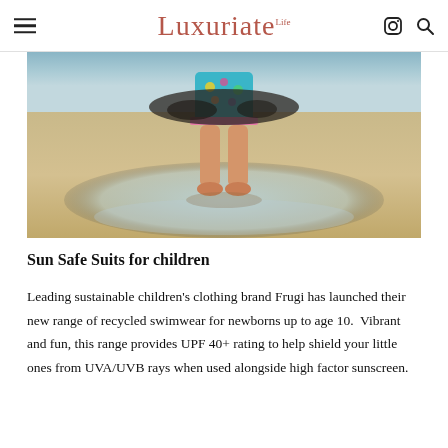Luxuriate Life
[Figure (photo): Child's legs and feet standing on wet sandy beach with shallow water, wearing a colorful patterned swimsuit/dress, viewed from behind at low angle]
Sun Safe Suits for children
Leading sustainable children's clothing brand Frugi has launched their new range of recycled swimwear for newborns up to age 10.  Vibrant and fun, this range provides UPF 40+ rating to help shield your little ones from UVA/UVB rays when used alongside high factor sunscreen.